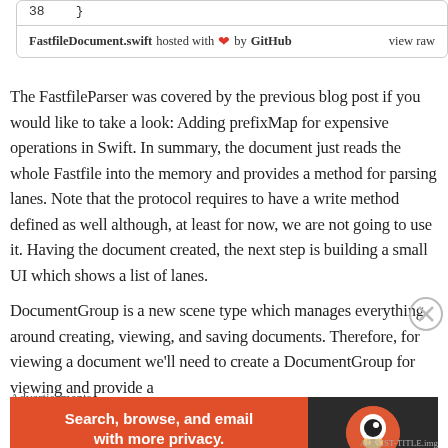38    }
FastfileDocument.swift hosted with ❤ by GitHub    view raw
The FastfileParser was covered by the previous blog post if you would like to take a look: Adding prefixMap for expensive operations in Swift. In summary, the document just reads the whole Fastfile into the memory and provides a method for parsing lanes. Note that the protocol requires to have a write method defined as well although, at least for now, we are not going to use it. Having the document created, the next step is building a small UI which shows a list of lanes.
DocumentGroup is a new scene type which manages everything around creating, viewing, and saving documents. Therefore, for viewing a document we'll need to create a DocumentGroup for viewing and provide a
Advertisements
[Figure (infographic): DuckDuckGo advertisement banner: 'Search, browse, and email with more privacy. All in One Free App' on orange background with DuckDuckGo logo on dark background]